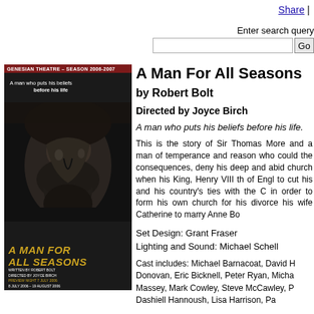Share |
Enter search query
[Figure (illustration): Theater poster for 'A Man For All Seasons' by Genesian Theatre, Season 2006-2007. Dark background with a close-up of an aged face in shadow. Title text in gold/yellow italic bold font. Credits at bottom.]
A Man For All Seasons
by Robert Bolt
Directed by Joyce Birch
A man who puts his beliefs before his life.
This is the story of Sir Thomas More and a man of temperance and reason who could the consequences, deny his deep and abid church when his King, Henry VIII th of Engl to cut his and his country's ties with the C in order to form his own church for his divorce his wife Catherine to marry Anne Bo
Set Design: Grant Fraser
Lighting and Sound: Michael Schell
Cast includes: Michael Barnacoat, David H Donovan, Eric Bicknell, Peter Ryan, Micha Massey, Mark Cowley, Steve McCawley, P Dashiell Hannoush, Lisa Harrison, Pa